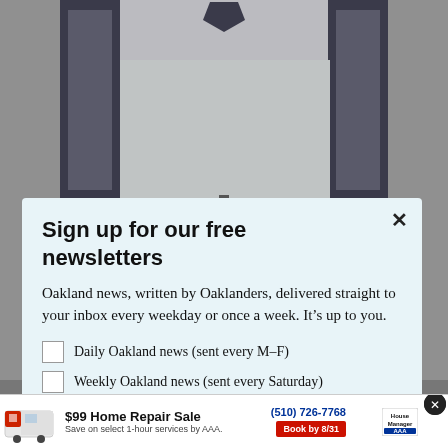[Figure (photo): Background photo of a building facade with dark pillars and a shield/badge emblem at the top, gray tiled walls]
Sign up for our free newsletters
Oakland news, written by Oaklanders, delivered straight to your inbox every weekday or once a week. It’s up to you.
Daily Oakland news (sent every M–F)
Weekly Oakland news (sent every Saturday)
Email (Required)
[Figure (infographic): Bottom advertisement banner: AAA $99 Home Repair Sale, save on select 1-hour services by AAA, phone (510) 726-7768, Book by 8/31, House Manager logo, AAA logo]